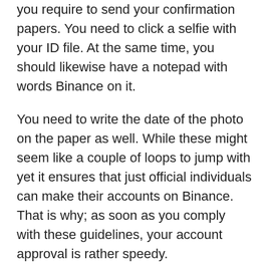you require to send your confirmation papers. You need to click a selfie with your ID file. At the same time, you should likewise have a notepad with words Binance on it.
You need to write the date of the photo on the paper as well. While these might seem like a couple of loops to jump with yet it ensures that just official individuals can make their accounts on Binance. That is why; as soon as you comply with these guidelines, your account approval is rather speedy.
Binance uses you on-line assistance which is fairly receptive and also fast. It, nonetheless, does not provide you phone support. The mobile app is available for android in addition